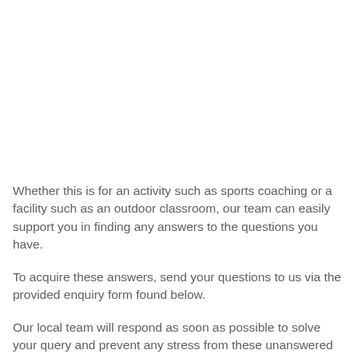Whether this is for an activity such as sports coaching or a facility such as an outdoor classroom, our team can easily support you in finding any answers to the questions you have.
To acquire these answers, send your questions to us via the provided enquiry form found below.
Our local team will respond as soon as possible to solve your query and prevent any stress from these unanswered questions.
We can also offer guidance on the different types of fund suitable